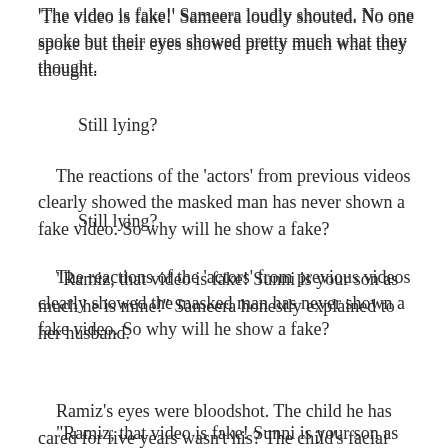'The video is fake!' Sameera loudly shouted. No one spoke but their eyes showed pretty much what they thought.
Still lying?
The reactions of the 'actors' from previous videos clearly showed the masked man has never shown a fake video. So why will he show a fake?
"Ramiz, that video is fake! Sunni is your son as much he is mine!" Sameera honestly explained to her husband.
Ramiz's eyes were bloodshot. The child he has cared for five years wasn't his? The child's facial features were similar to his mother so he never